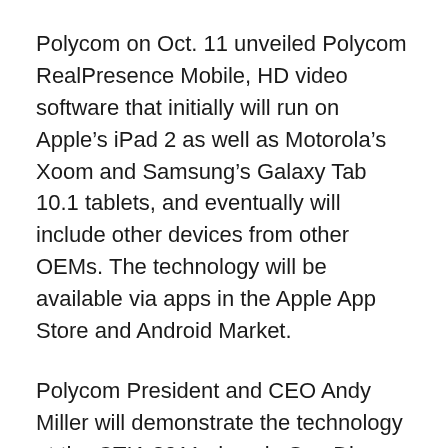Polycom on Oct. 11 unveiled Polycom RealPresence Mobile, HD video software that initially will run on Apple’s iPad 2 as well as Motorola’s Xoom and Samsung’s Galaxy Tab 10.1 tablets, and eventually will include other devices from other OEMs. The technology will be available via apps in the Apple App Store and Android Market.
Polycom President and CEO Andy Miller will demonstrate the technology at the CTIA 2011 show in San Diego Oct. 12.
The application runs on Polycom’s RealPresence platform, which is the foundation for the vendor’s conference room video conferencing technology. The platform supports up to 75,000 devices and 25,000 concurrent sessions, and can be used as an on-premises solution or accessed via the cloud. Through [obscured] icipate in corpora[obscured] with